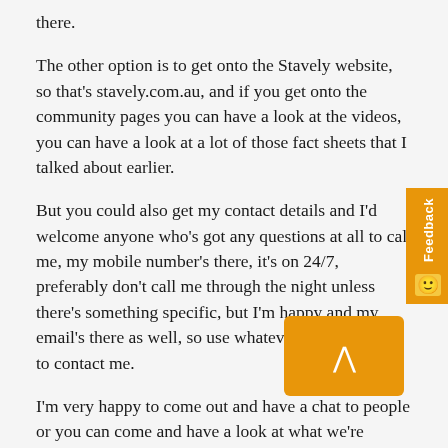there.
The other option is to get onto the Stavely website, so that's stavely.com.au, and if you get onto the community pages you can have a look at the videos, you can have a look at a lot of those fact sheets that I talked about earlier.
But you could also get my contact details and I'd welcome anyone who's got any questions at all to call me, my mobile number's there, it's on 24/7, preferably don't call me through the night unless there's something specific, but I'm happy and my email's there as well, so use whatever that suits you to contact me.
I'm very happy to come out and have a chat to people or you can come and have a look at what we're doing, more than happy to have whatever contact.
We're there to work with the community, and as I said earlier, we've got 13 year – sorry, eight years, been here since 2013, it might feel like 13 years, but we've been here a long time and we really do endeavour to work very closely with the community, as all the land owners out there